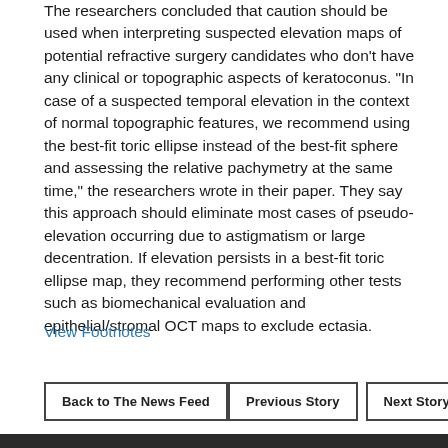The researchers concluded that caution should be used when interpreting suspected elevation maps of potential refractive surgery candidates who don't have any clinical or topographic aspects of keratoconus. "In case of a suspected temporal elevation in the context of normal topographic features, we recommend using the best-fit toric ellipse instead of the best-fit sphere and assessing the relative pachymetry at the same time," the researchers wrote in their paper. They say this approach should eliminate most cases of pseudo-elevation occurring due to astigmatism or large decentration. If elevation persists in a best-fit toric ellipse map, they recommend performing other tests such as biomechanical evaluation and epithelial/stromal OCT maps to exclude ectasia.
View Footnotes
Back to The News Feed
Previous Story
Next Story